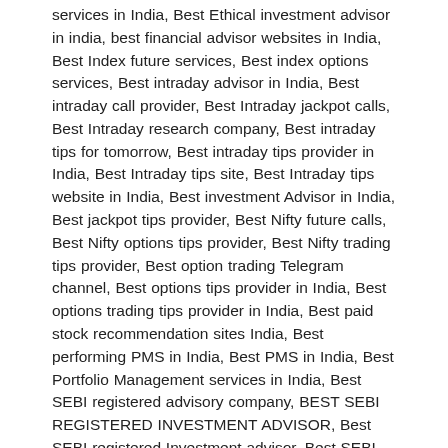services in India, Best Ethical investment advisor in india, best financial advisor websites in India, Best Index future services, Best index options services, Best intraday advisor in India, Best intraday call provider, Best Intraday jackpot calls, Best Intraday research company, Best intraday tips for tomorrow, Best intraday tips provider in India, Best Intraday tips site, Best Intraday tips website in India, Best investment Advisor in India, Best jackpot tips provider, Best Nifty future calls, Best Nifty options tips provider, Best Nifty trading tips provider, Best option trading Telegram channel, Best options tips provider in India, Best options trading tips provider in India, Best paid stock recommendation sites India, Best performing PMS in India, Best PMS in India, Best Portfolio Management services in India, Best SEBI registered advisory company, BEST SEBI REGISTERED INVESTMENT ADVISOR, Best SEBI registered Investment advisor, Best SEBI registered research analyst, Best SEBI registered stock tips provider, Best SEBI registered Telegram Channel, Best Share market advisor in India, Best share market advisory company in India, Best share market consultants in India, Best Share market tips, Best share market tips provider in India, Best Share ti...